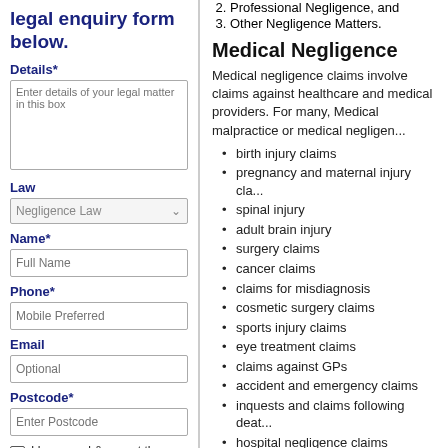legal enquiry form below.
Details*
Enter details of your legal matter in this box
Law
Negligence Law
Name*
Full Name
Phone*
Mobile Preferred
Email
Optional
Postcode*
Enter Postcode
I have read & accept the Terms of Use
SEND
2. Professional Negligence, and
3. Other Negligence Matters.
Medical Negligence
Medical negligence claims involve claims against healthcare and medical providers. For many, Medical malpractice or medical negligen...
birth injury claims
pregnancy and maternal injury cla...
spinal injury
adult brain injury
surgery claims
cancer claims
claims for misdiagnosis
cosmetic surgery claims
sports injury claims
eye treatment claims
claims against GPs
accident and emergency claims
inquests and claims following deat...
hospital negligence claims
dental/dentist negligence claims
negligent nursing claims
negligent medical advice claims
Professional Negligence